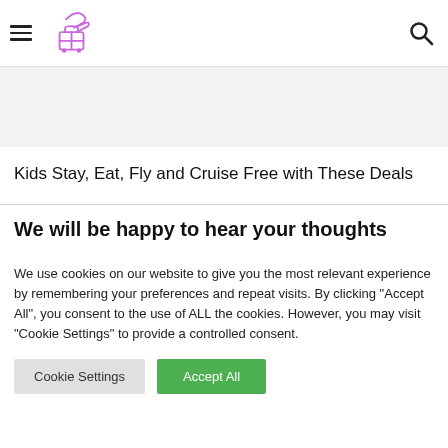[Navigation header with hamburger menu, travel logo, and search icon]
[Figure (illustration): Gray banner area below the navigation header]
Kids Stay, Eat, Fly and Cruise Free with These Deals
We will be happy to hear your thoughts
We use cookies on our website to give you the most relevant experience by remembering your preferences and repeat visits. By clicking "Accept All", you consent to the use of ALL the cookies. However, you may visit "Cookie Settings" to provide a controlled consent.
Cookie Settings | Accept All